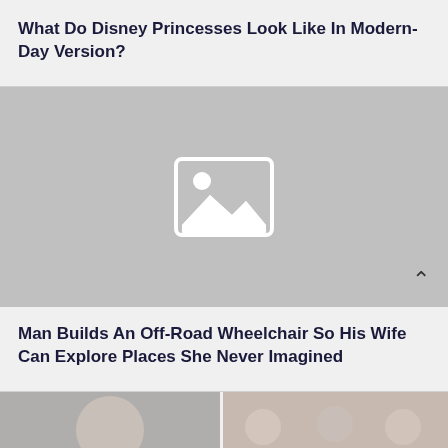What Do Disney Princesses Look Like In Modern-Day Version?
[Figure (photo): Placeholder image with grey background and image icon, showing an upward chevron arrow in the bottom right corner]
Man Builds An Off-Road Wheelchair So His Wife Can Explore Places She Never Imagined
[Figure (photo): Two side-by-side photos: left showing a bald man's face, right showing a group of people including two young women and a man at an event]